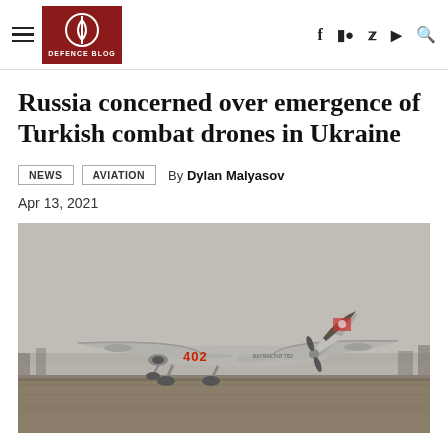Defence Blog
Russia concerned over emergence of Turkish combat drones in Ukraine
NEWS  AVIATION  By Dylan Malyasov
Apr 13, 2021
[Figure (photo): A Turkish Bayraktar TB2 combat drone (numbered 402) on a runway, gray sky background, ground visible beneath the aircraft.]